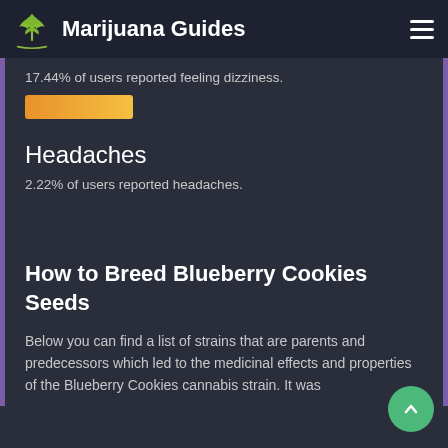Marijuana Guides
17.44% of users reported feeling dizziness.
[Figure (other): Orange horizontal progress bar indicating 17.44% dizziness rate]
Headaches
2.22% of users reported headaches.
How to Breed Blueberry Cookies Seeds
Below you can find a list of strains that are parents and predecessors which led to the medicinal effects and properties of the Blueberry Cookies cannabis strain. It was